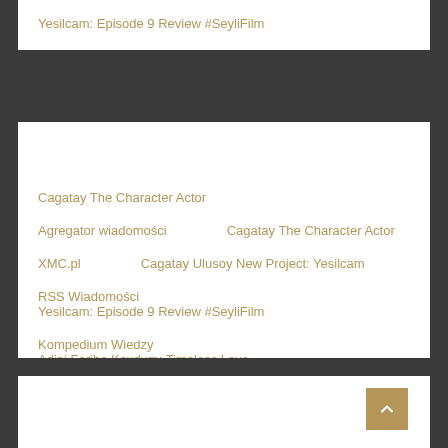Yesilcam: Episode 9 Review #SeyliFilm
Cagatay The Character Actor
Agregator wiadomości    Cagatay The Character Actor
XMC.pl    Cagatay Ulusoy New Project: Yesilcam
RSS Wiadomości    Yesilcam: Episode 9 Review #SeyliFilm
Kompedium Wiedzy    Adini Feriha Koydum: Timeless Love